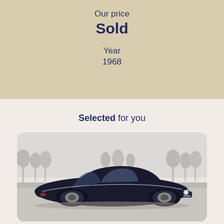Our price
Sold
Year
1968
Selected for you
[Figure (photo): Classic vintage black car (appears to be a 1968 model), photographed outdoors with bare winter trees in the background. The car has a sleek, aerodynamic body style typical of late 1960s luxury/sports cars.]